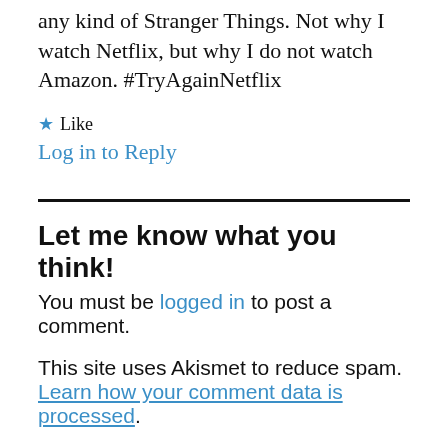any kind of Stranger Things. Not why I watch Netflix, but why I do not watch Amazon. #TryAgainNetflix
★ Like
Log in to Reply
Let me know what you think!
You must be logged in to post a comment.
This site uses Akismet to reduce spam. Learn how your comment data is processed.